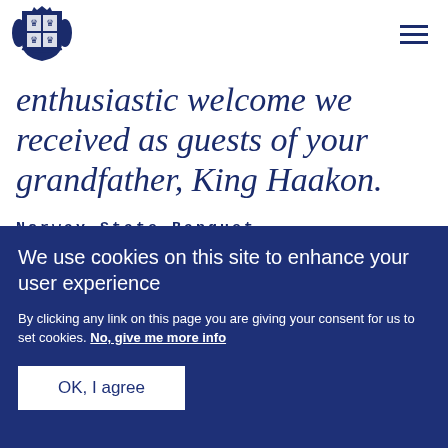[Figure (logo): Royal coat of arms logo in dark navy blue]
enthusiastic welcome we received as guests of your grandfather, King Haakon.
Norway State Banquet,
We use cookies on this site to enhance your user experience
By clicking any link on this page you are giving your consent for us to set cookies. No, give me more info
OK, I agree